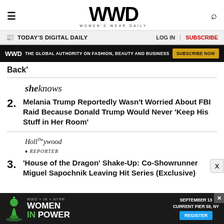WWD WOMEN'S WEAR DAILY
TODAY'S DIGITAL DAILY | LOG IN | SUBSCRIBE
WWD THE GLOBAL AUTHORITY ON FASHION, BEAUTY AND BUSINESS SUBSCRIBE NOW
Back'
[Figure (logo): SheKnows logo in serif italic font]
2. Melania Trump Reportedly Wasn't Worried About FBI Raid Because Donald Trump Would Never 'Keep His Stuff in Her Room'
[Figure (logo): The Hollywood Reporter logo in italic serif font]
3. 'House of the Dragon' Shake-Up: Co-Showrunner Miguel Sapochnik Leaving Hit Series (Exclusive)
[Figure (infographic): Women in Power event advertisement banner: chess piece, WWD x IN x NYRR logos, WOMEN IN POWER text, SEPTEMBER 13 CURRENT PIER 59 NY, REGISTER button]